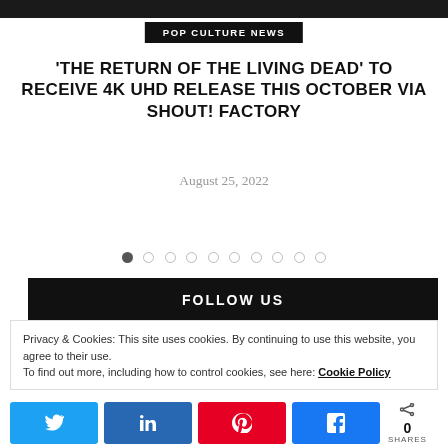[Figure (photo): Dark/black background image at top of page (partially visible)]
POP CULTURE NEWS
'THE RETURN OF THE LIVING DEAD' TO RECEIVE 4K UHD RELEASE THIS OCTOBER VIA SHOUT! FACTORY
August 25, 2022
[Figure (other): Carousel navigation dots — 10 dots, first filled/dark, rest empty circles]
FOLLOW US
Privacy & Cookies: This site uses cookies. By continuing to use this website, you agree to their use.
To find out more, including how to control cookies, see here: Cookie Policy
Twitter, LinkedIn, Pinterest, Facebook social share buttons. 0 SHARES